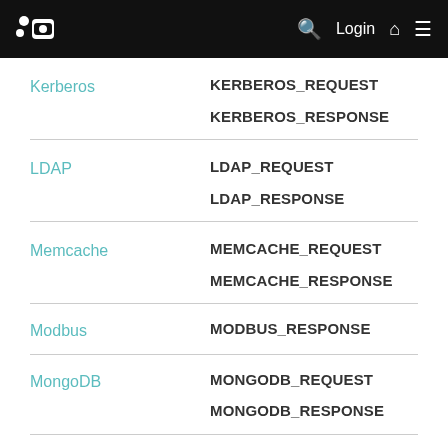Login
| Protocol | Event Types |
| --- | --- |
| Kerberos | KERBEROS_REQUEST
KERBEROS_RESPONSE |
| LDAP | LDAP_REQUEST
LDAP_RESPONSE |
| Memcache | MEMCACHE_REQUEST
MEMCACHE_RESPONSE |
| Modbus | MODBUS_RESPONSE |
| MongoDB | MONGODB_REQUEST
MONGODB_RESPONSE |